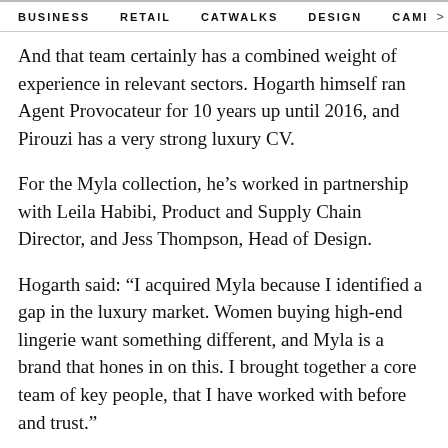BUSINESS   RETAIL   CATWALKS   DESIGN   CAMI  >
And that team certainly has a combined weight of experience in relevant sectors. Hogarth himself ran Agent Provocateur for 10 years up until 2016, and Pirouzi has a very strong luxury CV.
For the Myla collection, he’s worked in partnership with Leila Habibi, Product and Supply Chain Director, and Jess Thompson, Head of Design.
Hogarth said: “I acquired Myla because I identified a gap in the luxury market. Women buying high-end lingerie want something different, and Myla is a brand that hones in on this. I brought together a core team of key people, that I have worked with before and trust.”